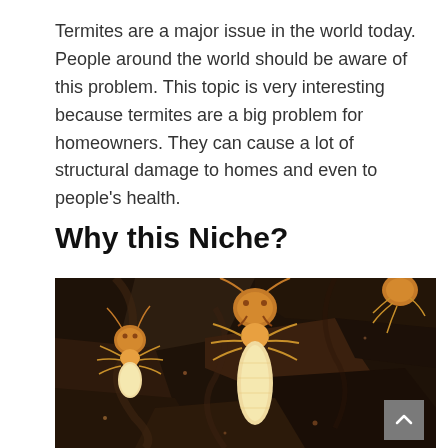Termites are a major issue in the world today. People around the world should be aware of this problem. This topic is very interesting because termites are a big problem for homeowners. They can cause a lot of structural damage to homes and even to people's health.
Why this Niche?
[Figure (photo): Close-up macro photograph of termites on dark wood/bark material. Two pale yellowish-white termites with orange-brown heads are visible in the foreground, with another termite partially visible in the upper right corner.]